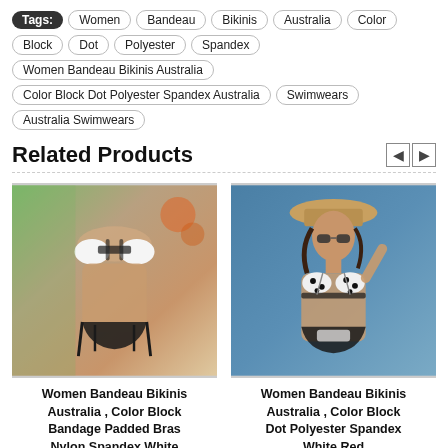Tags: Women Bandeau Bikinis Australia Color Block Dot Polyester Spandex Women Bandeau Bikinis Australia Color Block Dot Polyester Spandex Australia Swimwears Australia Swimwears
Related Products
[Figure (photo): Photo of a woman wearing a white and black bandeau bikini with mesh stripes, outdoor setting]
Women Bandeau Bikinis Australia , Color Block Bandage Padded Bras Nylon Spandex White
[Figure (photo): Photo of a woman wearing a white polka dot bandeau bikini with black accents and a straw hat, blue background]
Women Bandeau Bikinis Australia , Color Block Dot Polyester Spandex White Red